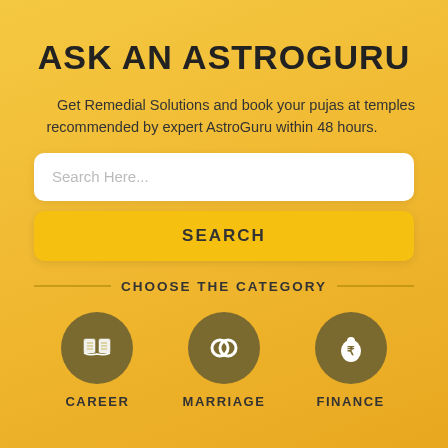ASK AN ASTROGURU
Get Remedial Solutions and book your pujas at temples recommended by expert AstroGuru within 48 hours.
Search Here...
SEARCH
CHOOSE THE CATEGORY
[Figure (illustration): Book icon inside brown/olive circle, labeled CAREER]
[Figure (illustration): Rings icon inside brown/olive circle, labeled MARRIAGE]
[Figure (illustration): Money bag icon with rupee symbol inside brown/olive circle, labeled FINANCE]